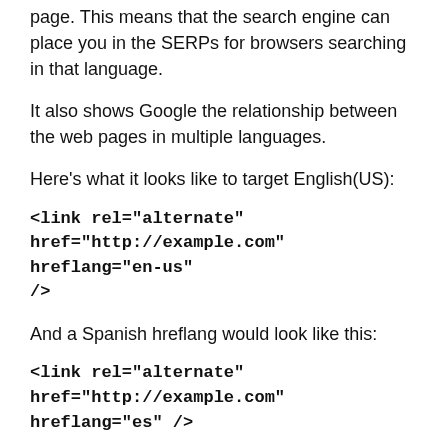page. This means that the search engine can place you in the SERPs for browsers searching in that language.
It also shows Google the relationship between the web pages in multiple languages.
Here’s what it looks like to target English(US):
<link rel="alternate" href="http://example.com" hreflang="en-us" />
And a Spanish hreflang would look like this:
<link rel="alternate" href="http://example.com" hreflang="es" />
Hreflang is a signal, not a directive. You’ll be learning why this is important when we talk about URLs a little later. But what